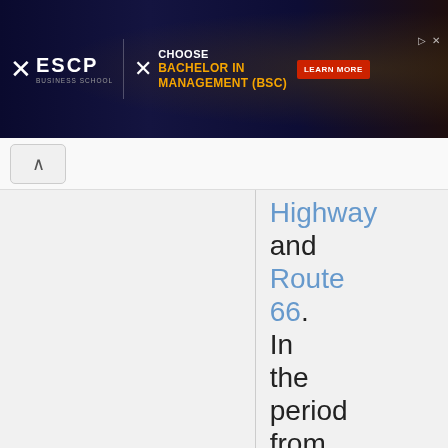[Figure (screenshot): ESCP Business School advertisement banner: dark navy/space background with ESCP logo on left, 'CHOOSE BACHELOR IN MANAGEMENT (BSC)' text in white and orange on right, red 'LEARN MORE' button, starburst image on far right.]
Highway and Route 66. In the period from 1900 to 1965 the population